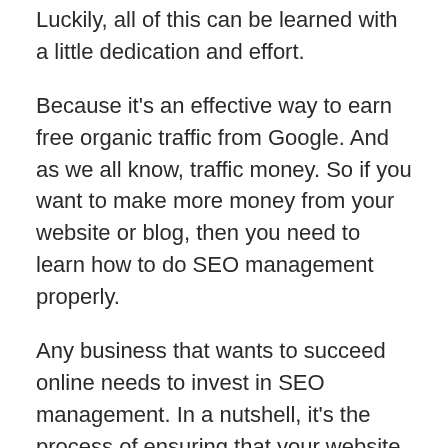Luckily, all of this can be learned with a little dedication and effort.
Because it’s an effective way to earn free organic traffic from Google. And as we all know, traffic money. So if you want to make more money from your website or blog, then you need to learn how to do SEO management properly.
Any business that wants to succeed online needs to invest in SEO management. In a nutshell, it’s the process of ensuring that your website is Optimized for Search Engines. This means making sure that your website is designed in such a way that it will rank highly in search engine results pages (SERPs), thereby driving more organic traffic to your site. Of course, SEO management is not a one-time task; it’s an ongoing process